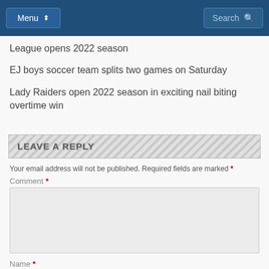Menu | Search
League opens 2022 season
EJ boys soccer team splits two games on Saturday
Lady Raiders open 2022 season in exciting nail biting overtime win
LEAVE A REPLY
Your email address will not be published. Required fields are marked *
Comment *
Name *